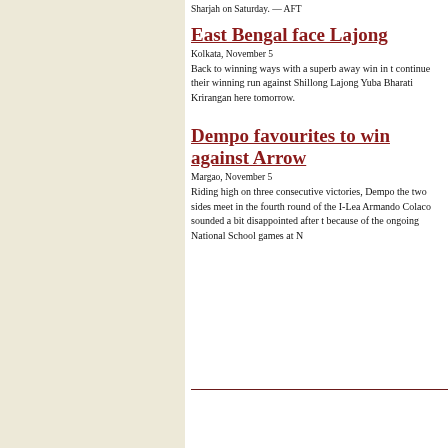Sharjah on Saturday. — AFT
East Bengal face Lajong
Kolkata, November 5
Back to winning ways with a superb away win in t continue their winning run against Shillong Lajong Yuba Bharati Krirangan here tomorrow.
Dempo favourites to win against Arrow
Margao, November 5
Riding high on three consecutive victories, Dempo the two sides meet in the fourth round of the I-Lea Armando Colaco sounded a bit disappointed after t because of the ongoing National School games at N